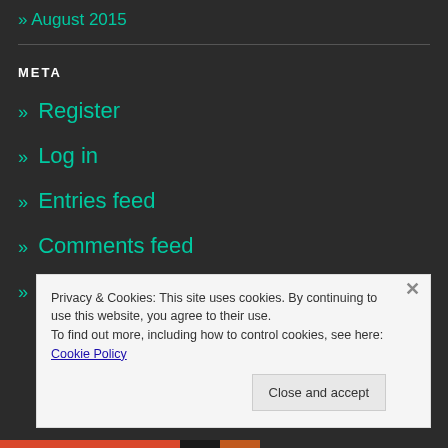» August 2015
META
» Register
» Log in
» Entries feed
» Comments feed
» WordPress.com
Privacy & Cookies: This site uses cookies. By continuing to use this website, you agree to their use. To find out more, including how to control cookies, see here: Cookie Policy
Close and accept